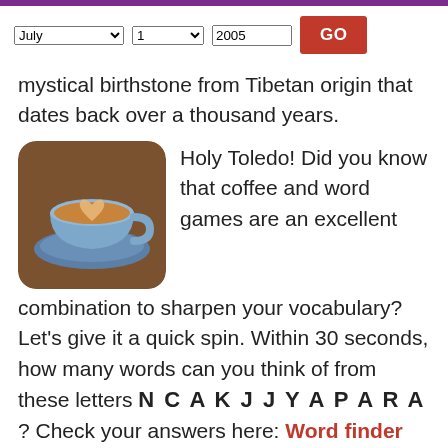mystical birthstone from Tibetan origin that dates back over a thousand years.
[Figure (photo): A latte coffee cup with latte art on a blue saucer, photographed from above at a slight angle, with rounded square crop.]
Holy Toledo! Did you know that coffee and word games are an excellent combination to sharpen your vocabulary? Let's give it a quick spin. Within 30 seconds, how many words can you think of from these letters N C A K J J Y A P A R A ? Check your answers here: Word finder NCAKJJYAPARA. (Sponsored by WordFinder.Cafe)